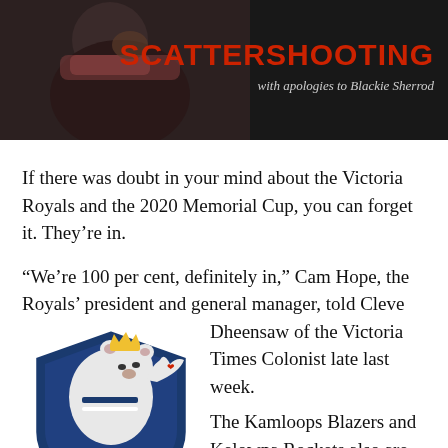[Figure (photo): Banner image showing a person in dark background with the title SCATTERSHOOTING in red block letters and subtitle 'with apologies to Blackie Sherrod' in italic white text]
If there was doubt in your mind about the Victoria Royals and the 2020 Memorial Cup, you can forget it. They're in.
“We’re 100 per cent, definitely in,” Cam Hope, the Royals’ president and general manager, told Cleve Dheensaw of the Victoria Times Colonist late last week.
[Figure (logo): Victoria Royals hockey team logo showing a polar bear wearing a crown and jersey, with 'ROYALS' text in blue]
The Kamloops Blazers and Kelowna Rockets also are all-in on this one, with both having held new...